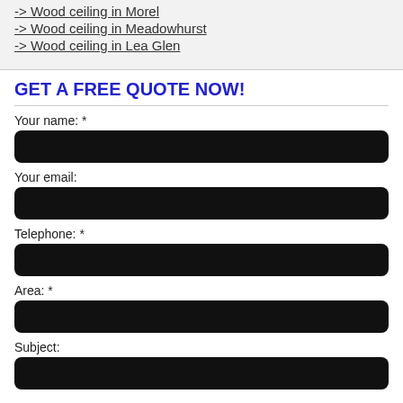-> Wood ceiling in Morel
-> Wood ceiling in Meadowhurst
-> Wood ceiling in Lea Glen
GET A FREE QUOTE NOW!
Your name: *
Your email:
Telephone: *
Area: *
Subject: